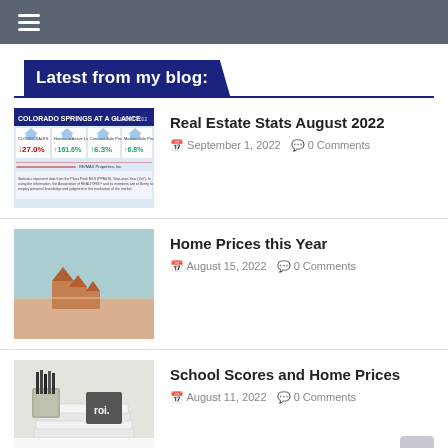Navigation menu bar with hamburger icon
Latest from my blog:
[Figure (screenshot): Real Estate Stats AT A GLANCE infographic thumbnail showing statistics for August 2022]
Real Estate Stats August 2022
September 1, 2022   0 Comments
[Figure (photo): Photo of small wooden house figurines on a table with a light blue wall background]
Home Prices this Year
August 15, 2022   0 Comments
[Figure (photo): Photo of pencil holder with pencils, stacked books, and a clock on a white surface]
School Scores and Home Prices
August 11, 2022   0 Comments